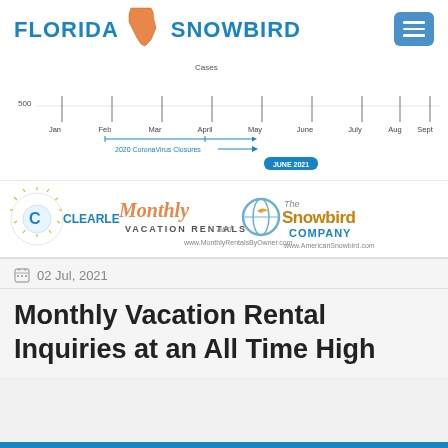FLORIDA SNOWBIRD
[Figure (continuous-plot): Partial line chart showing monthly inquiry data from Jan to Dec, with a y-axis label of 500, 'Cases' label at top. Annotation for '2020 CoronaVirus Closures' with arrow pointing right, and 'JUNE 2021' pill label.]
[Figure (logo): Advertisement banner showing Clearleaf Monthly Vacation Rentals (www.MonthlyRentalsByOwner.com) and The Snowbird Company (www.AmericanSnowbird.com) logos side by side.]
02 Jul, 2021
Monthly Vacation Rental Inquiries at an All Time High